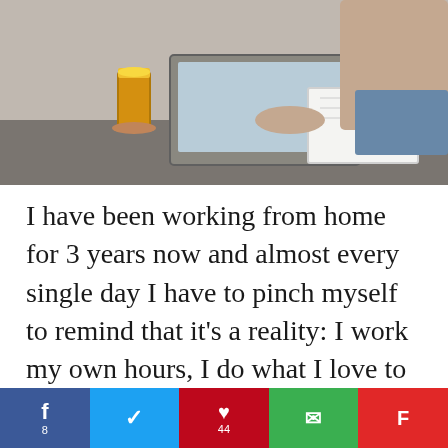[Figure (photo): Person working from home at a table with a laptop, orange juice glass, and notebook]
I have been working from home for 3 years now and almost every single day I have to pinch myself to remind that it's a reality: I work my own hours, I do what I love to do and I do it while I play with my kids. I wish I had take
[Figure (infographic): Social sharing bar with Facebook (8), Twitter, Pinterest (44), Email, and Flipboard buttons]